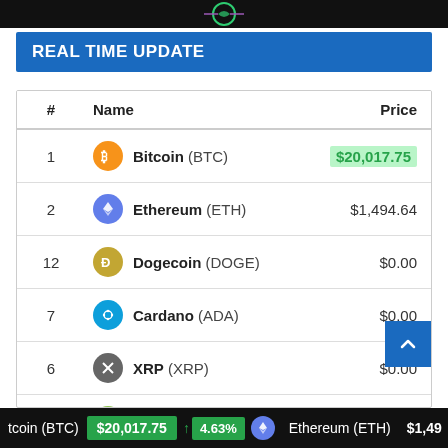[Figure (screenshot): Dark banner at top with green circular logo graphic]
REAL TIME UPDATE
| # | Name | Price |
| --- | --- | --- |
| 1 | Bitcoin (BTC) | $20,017.75 |
| 2 | Ethereum (ETH) | $1,494.64 |
| 12 | Dogecoin (DOGE) | $0.00 |
| 7 | Cardano (ADA) | $0.00 |
| 6 | XRP (XRP) | $0.00 |
| 25 | Bitcoin Cash (BCH) | $0.00 |
| 20 | Litecoin (LTC) | $0.00 |
tcoin (BTC)  $20,017.75  ↑ 4.63%   Ethereum (ETH)  $1,49…